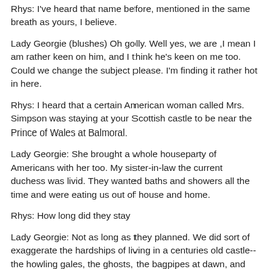Rhys: I've heard that name before, mentioned in the same breath as yours, I believe.
Lady Georgie (blushes) Oh golly. Well yes, we are ,I mean I am rather keen on him, and I think he's keen on me too. Could we change the subject please. I'm finding it rather hot in here.
Rhys: I heard that a certain American woman called Mrs. Simpson was staying at your Scottish castle to be near the Prince of Wales at Balmoral.
Lady Georgie: She brought a whole houseparty of Americans with her too. My sister-in-law the current duchess was livid. They wanted baths and showers all the time and were eating us out of house and home.
Rhys: How long did they stay
Lady Georgie: Not as long as they planned. We did sort of exaggerate the hardships of living in a centuries old castle-- the howling gales, the ghosts, the bagpipes at dawn, and